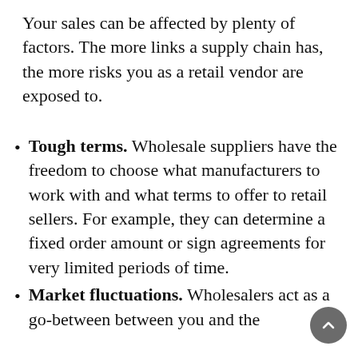Your sales can be affected by plenty of factors. The more links a supply chain has, the more risks you as a retail vendor are exposed to.
Tough terms. Wholesale suppliers have the freedom to choose what manufacturers to work with and what terms to offer to retail sellers. For example, they can determine a fixed order amount or sign agreements for very limited periods of time.
Market fluctuations. Wholesalers act as a go-between between you and the